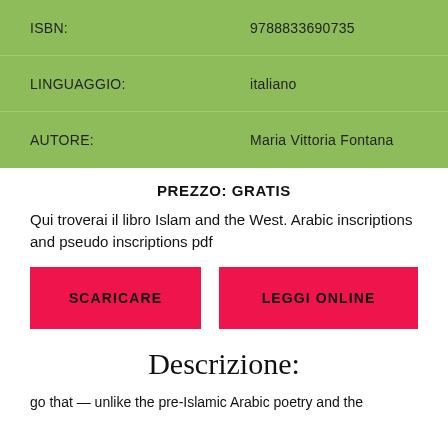| ISBN: | 9788833690735 |
| LINGUAGGIO: | italiano |
| AUTORE: | Maria Vittoria Fontana |
PREZZO: GRATIS
Qui troverai il libro Islam and the West. Arabic inscriptions and pseudo inscriptions pdf
SCARICARE
LEGGI ONLINE
Descrizione:
go that — unlike the pre-Islamic Arabic poetry and the